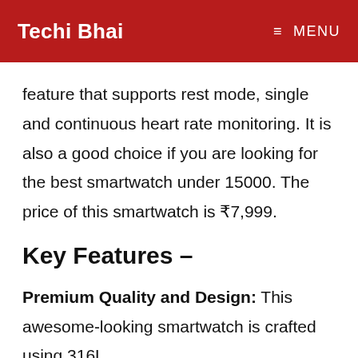Techi Bhai  ≡ MENU
feature that supports rest mode, single and continuous heart rate monitoring. It is also a good choice if you are looking for the best smartwatch under 15000. The price of this smartwatch is ₹7,999.
Key Features –
Premium Quality and Design: This awesome-looking smartwatch is crafted using 316L